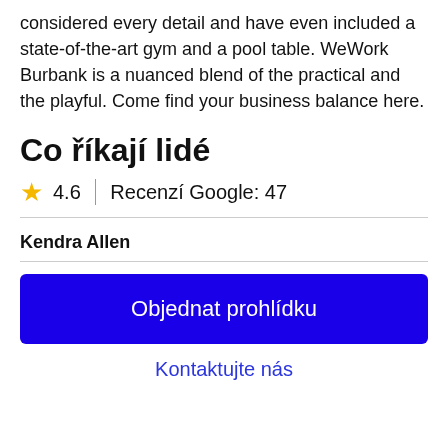considered every detail and have even included a state-of-the-art gym and a pool table. WeWork Burbank is a nuanced blend of the practical and the playful. Come find your business balance here.
Co říkají lidé
★ 4.6 | Recenzí Google: 47
Kendra Allen
Objednat prohlídku
Kontaktujte nás